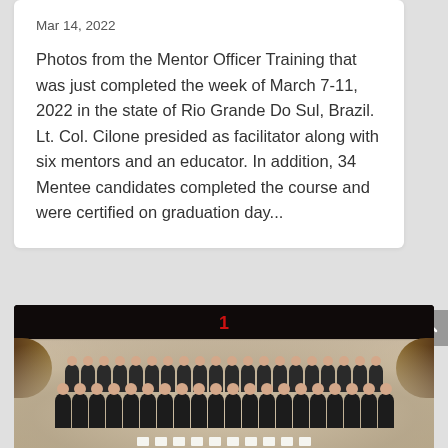Mar 14, 2022
Photos from the Mentor Officer Training that was just completed the week of March 7-11, 2022 in the state of Rio Grande Do Sul, Brazil. Lt. Col. Cilone presided as facilitator along with six mentors and an educator. In addition, 34 Mentee candidates completed the course and were certified on graduation day...
[Figure (photo): Group photo of graduation ceremony with many attendees holding certificates, on a stage with dark curtains and a red symbol on the backdrop.]